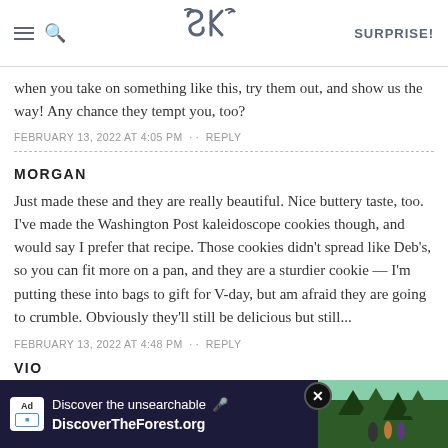SK SURPRISE!
when you take on something like this, try them out, and show us the way! Any chance they tempt you, too?
FEBRUARY 13, 2022 AT 4:05 PM · · REPLY
MORGAN
Just made these and they are really beautiful. Nice buttery taste, too. I've made the Washington Post kaleidoscope cookies though, and would say I prefer that recipe. Those cookies didn't spread like Deb's, so you can fit more on a pan, and they are a sturdier cookie — I'm putting these into bags to gift for V-day, but am afraid they are going to crumble. Obviously they'll still be delicious but still...
FEBRUARY 13, 2022 AT 4:48 PM · · REPLY
VIO
[Figure (screenshot): Advertisement banner for DiscoverTheForest.org with text 'Discover the unsearchable' and forest photo in background]